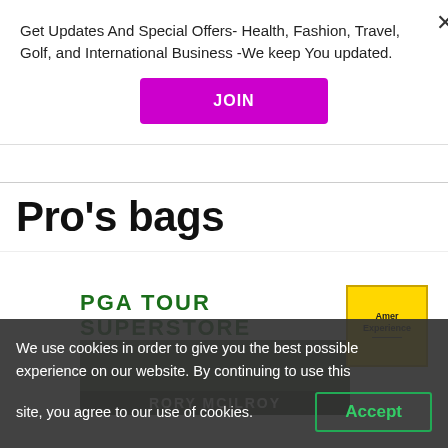Get Updates And Special Offers- Health, Fashion, Travel, Golf, and International Business -We keep You updated.
JOIN
Pro’s bags
[Figure (logo): PGA TOUR SUPERSTORE logo in dark green bold uppercase text]
[Figure (logo): Amer Experience badge — yellow square with black border, text 'Amer Experience' and a horizontal line]
[Figure (photo): Golf player photo with text overlay 'RORY MCILROY' on dark background]
We use cookies in order to give you the best possible experience on our website. By continuing to use this site, you agree to our use of cookies.
Accept